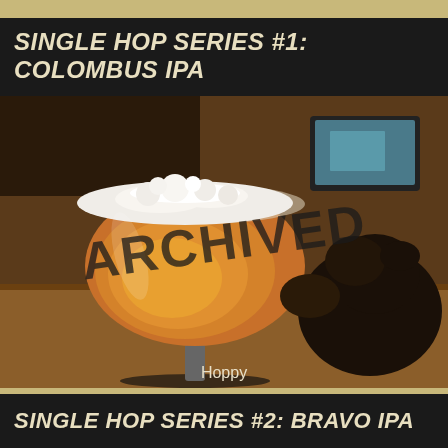SINGLE HOP SERIES #1: COLOMBUS IPA
[Figure (photo): Photo of a tulip-shaped beer glass filled with amber IPA beer with a frothy white head, sitting on a wooden bar surface. A dark-colored dog is sniffing the glass from the right side. A TV screen is visible in the background. A large 'ARCHIVED' watermark stamp is overlaid diagonally across the center of the image.]
Hoppy
SINGLE HOP SERIES #2: BRAVO IPA